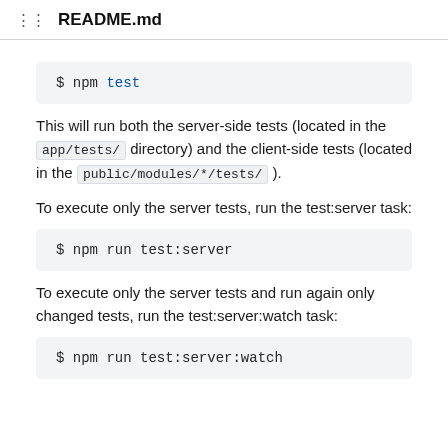README.md
This will run both the server-side tests (located in the app/tests/ directory) and the client-side tests (located in the public/modules/*/tests/ ).
To execute only the server tests, run the test:server task:
To execute only the server tests and run again only changed tests, run the test:server:watch task: